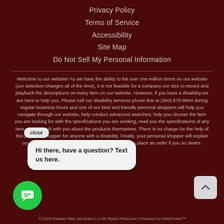Privacy Policy
Terms of Service
Accessibility
Site Map
Do Not Sell My Personal Information
Welcome to our website! As we have the ability to list over one million items on our website (our selection changes all of the time), it is not feasible for a company our size to record and playback the descriptions on every item on our website. However, if you have a disability we are here to help you. Please call our disability services phone line at (360) 575-9804 during regular business hours and one of our kind and friendly personal shoppers will help you navigate through our website, help conduct advanced searches, help you choose the item you are looking for with the specifications you are seeking, read you the specifications of any item, and consult with you about the products themselves. There is no charge for the help of this personal shopper for anyone with a disability. Finally, your personal shopper will explain our Privacy Policy and Terms of Service, and help you place an order if you so desire.
© 2022 Retailer Web Services LLC All Rights Reserved | Powered by WebFronts™